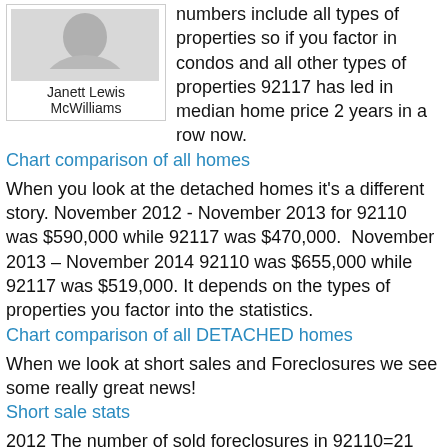[Figure (photo): Photo of Janett Lewis McWilliams, a person in light-colored clothing]
Janett Lewis McWilliams
numbers include all types of properties so if you factor in condos and all other types of properties 92117 has led in median home price 2 years in a row now.
Chart comparison of all homes
When you look at the detached homes it's a different story. November 2012 - November 2013 for 92110 was $590,000 while 92117 was $470,000.  November 2013 – November 2014 92110 was $655,000 while 92117 was $519,000. It depends on the types of properties you factor into the statistics.
Chart comparison of all DETACHED homes
When we look at short sales and Foreclosures we see some really great news!
Short sale stats
2012 The number of sold foreclosures in 92110=21 and 92117=33 2013. The number of sold foreclosures in 92110=5 and 92117=22 2014. The number of sold foreclosures in 92110=2 and 92117=7.